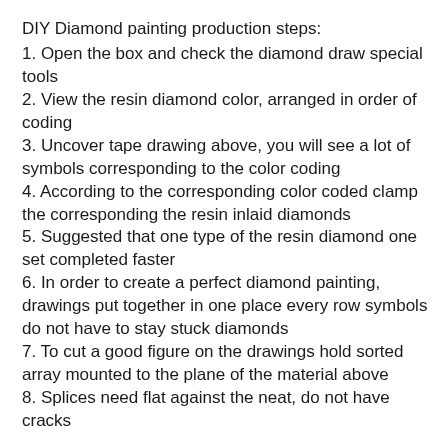DIY Diamond painting production steps:
1. Open the box and check the diamond draw special tools
2. View the resin diamond color, arranged in order of coding
3. Uncover tape drawing above, you will see a lot of symbols corresponding to the color coding
4. According to the corresponding color coded clamp the corresponding the resin inlaid diamonds
5. Suggested that one type of the resin diamond one set completed faster
6. In order to create a perfect diamond painting, drawings put together in one place every row symbols do not have to stay stuck diamonds
7. To cut a good figure on the drawings hold sorted array mounted to the plane of the material above
8. Splices need flat against the neat, do not have cracks